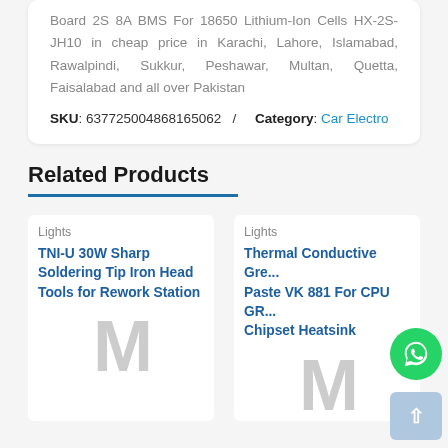Board 2S 8A BMS For 18650 Lithium-Ion Cells HX-2S-JH10 in cheap price in Karachi, Lahore, Islamabad, Rawalpindi, Sukkur, Peshawar, Multan, Quetta, Faisalabad and all over Pakistan
SKU: 637725004868165062 / Category: Car Electro
Related Products
Lights
TNI-U 30W Sharp Soldering Tip Iron Head Tools for Rework Station
Lights
Thermal Conductive Gre... Paste VK 881 For CPU GR... Chipset Heatsink